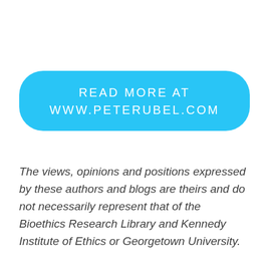[Figure (other): A sky-blue rounded rectangle button with centered white uppercase text reading 'READ MORE AT WWW.PETERUBEL.COM']
The views, opinions and positions expressed by these authors and blogs are theirs and do not necessarily represent that of the Bioethics Research Library and Kennedy Institute of Ethics or Georgetown University.